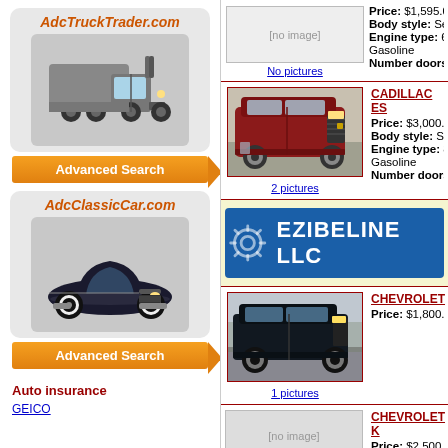[Figure (logo): AdcTruckTrader.com logo with semi-truck image in rounded gray box]
[Figure (illustration): Advanced Search orange arrow button]
[Figure (logo): AdcClassicCar.com logo with classic black car in rounded gray box]
[Figure (illustration): Advanced Search orange arrow button]
Auto insurance
GEICO
Price: $1,595.0
Body style: Se
Engine type: 6
Gasoline
Number doors:
[Figure (photo): No pictures placeholder for first listing]
No pictures
CADILLAC ES
Price: $3,000.
Body style: SU
Engine type: 8
Gasoline
Number doors:
[Figure (photo): Red Cadillac Escalade SUV]
2 pictures
[Figure (logo): EZIBELINE LLC blue banner with gear logo]
CHEVROLET
Price: $1,800.
[Figure (photo): Black Chevrolet SUV/Tahoe]
1 pictures
CHEVROLET K
Price: $2,500,0
Body style: Tr
Engine type: 8
Gasoline
No pictures